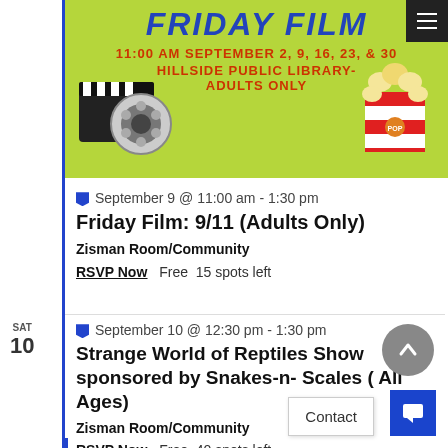[Figure (illustration): Friday Film banner with film reel and popcorn. Text: FRIDAY FILM, 11:00 AM SEPTEMBER 2, 9, 16, 23, & 30, HILLSIDE PUBLIC LIBRARY- ADULTS ONLY]
September 9 @ 11:00 am - 1:30 pm
Friday Film: 9/11 (Adults Only)
Zisman Room/Community
RSVP Now   Free   15 spots left
September 10 @ 12:30 pm - 1:30 pm
Strange World of Reptiles Show sponsored by Snakes-n- Scales ( All Ages)
Zisman Room/Community
RSVP Now   Free   40 spots left